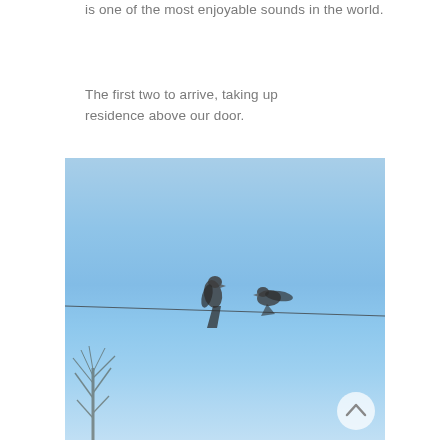is one of the most enjoyable sounds in the world.
The first two to arrive, taking up residence above our door.
[Figure (photo): Two birds (swallows) perched on a wire against a clear blue sky, with a bare tree silhouette visible at the bottom left. A circular scroll-up button appears in the bottom right corner of the image.]